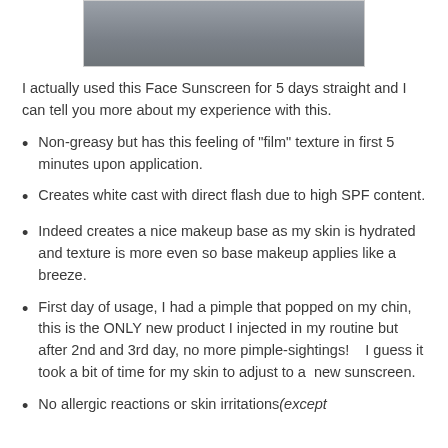[Figure (photo): Partial photo of white sunscreen tube/bottle on gray background, cropped at top of page]
I actually used this Face Sunscreen for 5 days straight and I can tell you more about my experience with this.
Non-greasy but has this feeling of "film" texture in first 5 minutes upon application.
Creates white cast with direct flash due to high SPF content.
Indeed creates a nice makeup base as my skin is hydrated and texture is more even so base makeup applies like a breeze.
First day of usage, I had a pimple that popped on my chin, this is the ONLY new product I injected in my routine but after 2nd and 3rd day, no more pimple-sightings!   I guess it took a bit of time for my skin to adjust to a  new sunscreen.
No allergic reactions or skin irritations (except